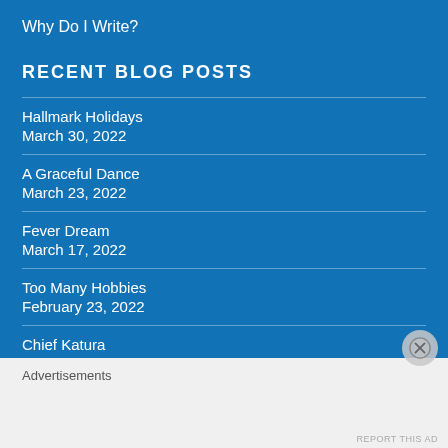Why Do I Write?
RECENT BLOG POSTS
Hallmark Holidays
March 30, 2022
A Graceful Dance
March 23, 2022
Fever Dream
March 17, 2022
Too Many Hobbies
February 23, 2022
Chief Katura
Advertisements
REPORT THIS AD